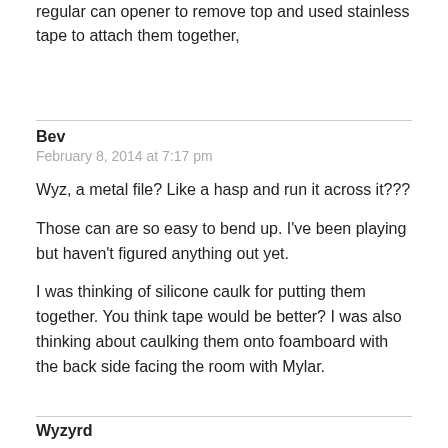regular can opener to remove top and used stainless tape to attach them together,
Bev
February 8, 2014 at 7:17 pm
Wyz, a metal file? Like a hasp and run it across it???
Those can are so easy to bend up. I've been playing but haven't figured anything out yet.
I was thinking of silicone caulk for putting them together. You think tape would be better? I was also thinking about caulking them onto foamboard with the back side facing the room with Mylar.
Wyzyrd